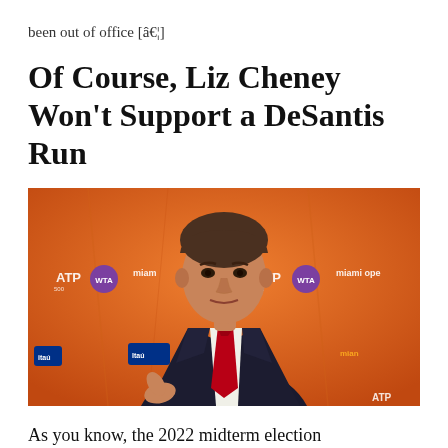been out of office [â€¦]
Of Course, Liz Cheney Won't Support a DeSantis Run
[Figure (photo): Photo of Ron DeSantis in a dark suit with red tie in front of an orange Miami Open / ATP / WTA branded backdrop]
As you know, the 2022 midterm election